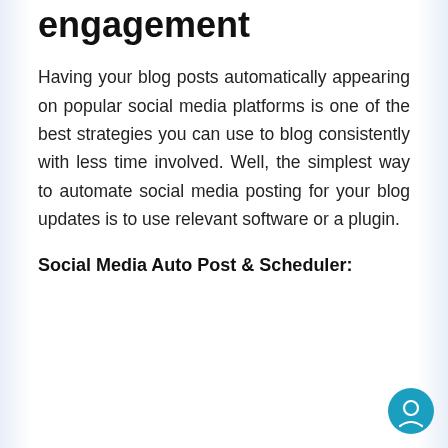engagement
Having your blog posts automatically appearing on popular social media platforms is one of the best strategies you can use to blog consistently with less time involved. Well, the simplest way to automate social media posting for your blog updates is to use relevant software or a plugin.
Social Media Auto Post & Scheduler: